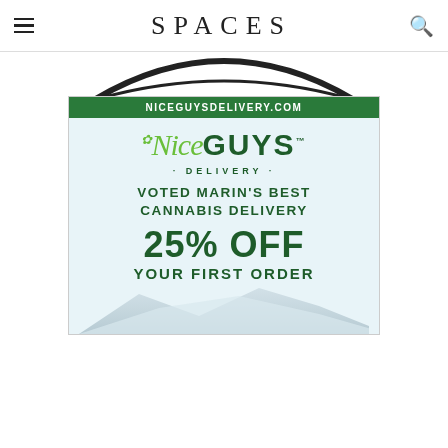SPACES
[Figure (illustration): Bottom arc/curve of a circular logo element, black outline on white background]
[Figure (infographic): Nice Guys Delivery cannabis delivery service advertisement. Green header bar with URL NICEGUYSDELIVERY.COM. Logo shows 'Nice' in italic script and 'GUYS TM' in bold dark green, with cannabis leaf icon, and '· DELIVERY ·' subtitle. Text: VOTED MARIN'S BEST CANNABIS DELIVERY. 25% OFF YOUR FIRST ORDER. Mountain silhouette background.]